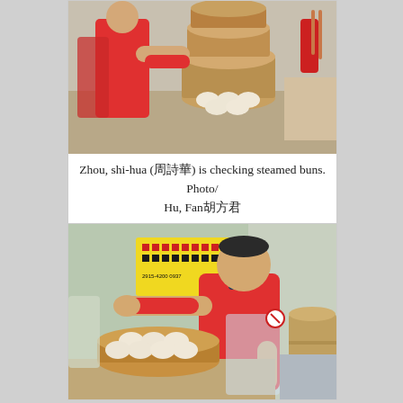[Figure (photo): Zhou, shi-hua checking steamed buns in bamboo steamers; woman in red shirt handling stacked bamboo steamer baskets with buns inside at a food stall]
Zhou, shi-hua (周詩華) is checking steamed buns. Photo/ Hu, Fan胡方君
[Figure (photo): A man in a red polo shirt working at a street food stall, handling plastic wrap over a bamboo steamer basket filled with steamed buns; a menu board with Chinese characters and phone numbers visible in the background]